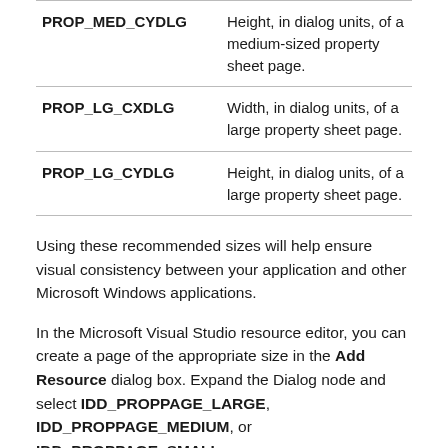| Property | Description |
| --- | --- |
| PROP_MED_CYDLG | Height, in dialog units, of a medium-sized property sheet page. |
| PROP_LG_CXDLG | Width, in dialog units, of a large property sheet page. |
| PROP_LG_CYDLG | Height, in dialog units, of a large property sheet page. |
Using these recommended sizes will help ensure visual consistency between your application and other Microsoft Windows applications.
In the Microsoft Visual Studio resource editor, you can create a page of the appropriate size in the Add Resource dialog box. Expand the Dialog node and select IDD_PROPPAGE_LARGE, IDD_PROPPAGE_MEDIUM, or IDD_PROPPAGE_SMALL.
The property sheet is automatically sized to accommodate...